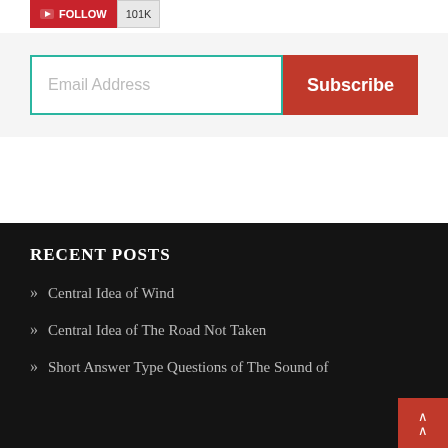[Figure (screenshot): YouTube subscribe button with red background showing YouTube logo and text 'FOLLOW', followed by grey subscriber count badge showing '101K']
Email Address
Subscribe
RECENT POSTS
Central Idea of Wind
Central Idea of The Road Not Taken
Short Answer Type Questions of The Sound of